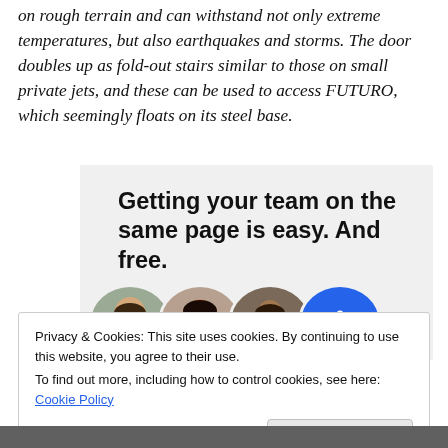on rough terrain and can withstand not only extreme temperatures, but also earthquakes and storms. The door doubles up as fold-out stairs similar to those on small private jets, and these can be used to access FUTURO, which seemingly floats on its steel base.
[Figure (screenshot): Advertisement banner with bold text 'Getting your team on the same page is easy. And free.' with circular profile photo avatars below on a light grey background.]
Privacy & Cookies: This site uses cookies. By continuing to use this website, you agree to their use.
To find out more, including how to control cookies, see here: Cookie Policy